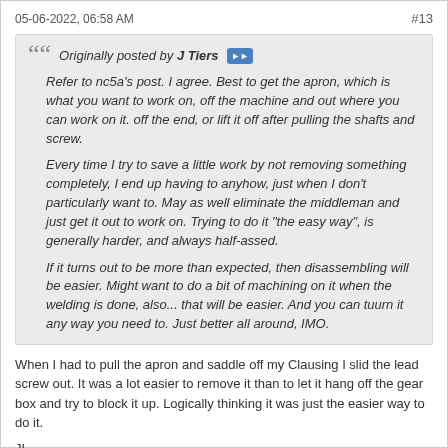05-06-2022, 06:58 AM    #13
Originally posted by J Tiers

Refer to nc5a's post. I agree. Best to get the apron, which is what you want to work on, off the machine and out where you can work on it. off the end, or lift it off after pulling the shafts and screw.

Every time I try to save a little work by not removing something completely, I end up having to anyhow, just when I don't particularly want to. May as well eliminate the middleman and just get it out to work on. Trying to do it "the easy way", is generally harder, and always half-assed.

If it turns out to be more than expected, then disassembling will be easier. Might want to do a bit of machining on it when the welding is done, also... that will be easier. And you can tuurn it any way you need to. Just better all around, IMO.
When I had to pull the apron and saddle off my Clausing I slid the lead screw out. It was a lot easier to remove it than to let it hang off the gear box and try to block it up. Logically thinking it was just the easier way to do it.
JL...............